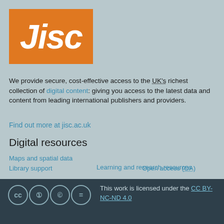[Figure (logo): Jisc logo — white bold italic text on orange square background]
We provide secure, cost-effective access to the UK's richest collection of digital content: giving you access to the latest data and content from leading international publishers and providers.
Find out more at jisc.ac.uk
Digital resources
Maps and spatial data
Learning and research resources
Library support
Open access (OA)
This work is licensed under the CC BY-NC-ND 4.0